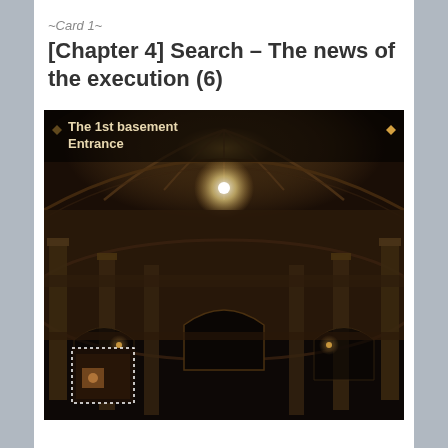~Card 1~
[Chapter 4] Search – The news of the execution (6)
[Figure (screenshot): A dark, dimly lit basement entrance hall in a video game. The location label 'The 1st basement Entrance' appears in the top-left corner with a diamond bullet. A glowing orb of light illuminates the vaulted ceiling. Ornate stone columns and arched doorways line the circular room. A small minimap thumbnail with a dotted white border is visible in the lower-left corner showing a character position.]